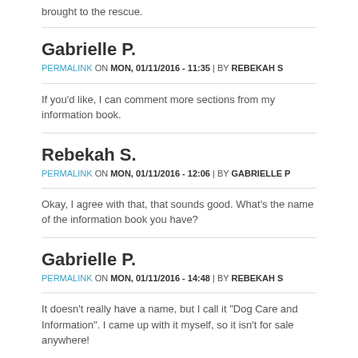brought to the rescue.
Gabrielle P.
PERMALINK ON MON, 01/11/2016 - 11:35 | BY REBEKAH S
If you'd like, I can comment more sections from my information book.
Rebekah S.
PERMALINK ON MON, 01/11/2016 - 12:06 | BY GABRIELLE P
Okay, I agree with that, that sounds good. What's the name of the information book you have?
Gabrielle P.
PERMALINK ON MON, 01/11/2016 - 14:48 | BY REBEKAH S
It doesn't really have a name, but I call it "Dog Care and Information". I came up with it myself, so it isn't for sale anywhere!